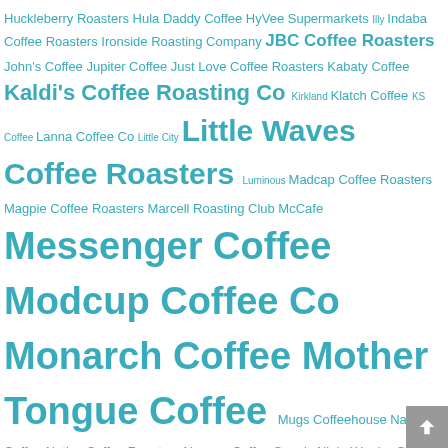Huckleberry Roasters Hula Daddy Coffee HyVee Supermarkets Illy Indaba Coffee Roasters Ironside Roasting Company JBC Coffee Roasters John's Coffee Jupiter Coffee Just Love Coffee Roasters Kabaty Coffee Kaldi's Coffee Roasting Co Kirkland Klatch Coffee KS Coffee Lanna Coffee Co Little City Little Waves Coffee Roasters Luminous Madcap Coffee Roasters Magpie Coffee Roasters Marcell Roasting Club McCafe Messenger Coffee Modcup Coffee Co Monarch Coffee Mother Tongue Coffee Mugs Coffeehouse Naked Coffee Native Coffee Roasters Nguyen Coffee Supply Ninja Warrior Coffee Roasters Noble Coyote Coffee Roasters Oceana Coffee Oddly Correct Onyx Coffee Lab Onyx Coffee Labs Otis Craft Collective Our Gorongosa Ozo Coffee Company Pachamama Coffee Cooperative Palace Coffee Parisi Artisan Coffee Parisi Coffee Partners Coffee Roasters Patriot Coffee Roasters Peet's Coffee Peixoto Coffee Portland Roasting Coffee Pour Coffee Roasting Co. PT's Coffee Roasting Co. Repetition